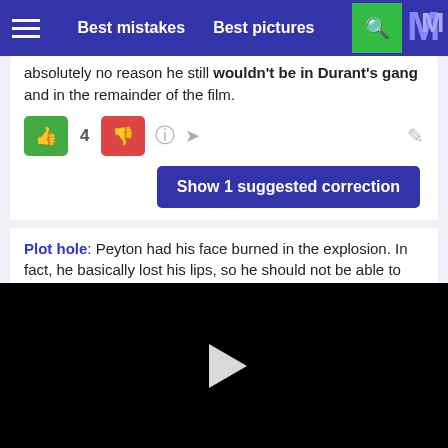Best mistakes   Best pictures
absolutely no reason he still wouldn't be in Durant's gang and in the remainder of the film.
Show 1 suggested correction
Plot hole: Peyton had his face burned in the explosion. In fact, he basically lost his lips, so he should not be able to talk very easily. While he could probably learn to speak normally again through other movements with his
[Figure (screenshot): Black video player area with a white play button triangle in the center]